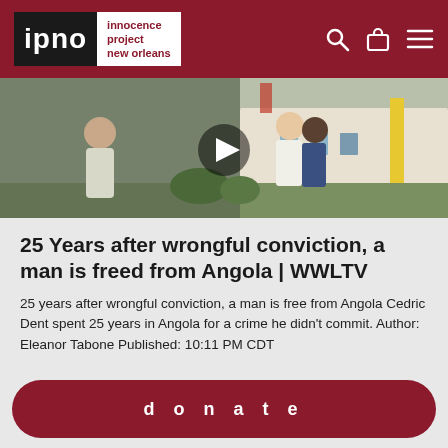ipno | innocence project new orleans
[Figure (photo): Video thumbnail showing people outside a building, with a video play button overlay]
25 Years after wrongful conviction, a man is freed from Angola | WWLTV
25 years after wrongful conviction, a man is free from Angola Cedric Dent spent 25 years in Angola for a crime he didn't commit. Author: Eleanor Tabone Published: 10:11 PM CDT
donate